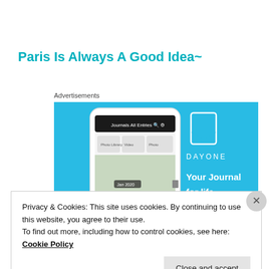Paris Is Always A Good Idea~
Advertisements
[Figure (screenshot): Day One journaling app advertisement on a blue background showing a smartphone screenshot of the app and the DAYONE logo with tagline 'Your Journal for life']
Privacy & Cookies: This site uses cookies. By continuing to use this website, you agree to their use.
To find out more, including how to control cookies, see here: Cookie Policy
Close and accept